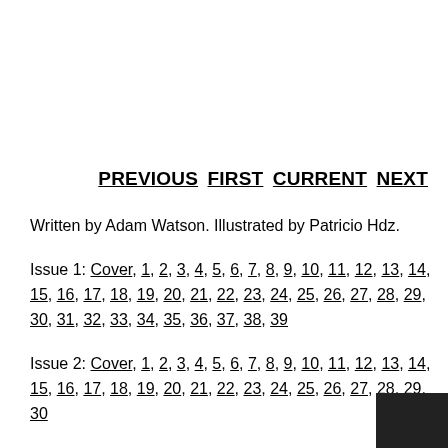PREVIOUS  FIRST  CURRENT  NEXT
Written by Adam Watson. Illustrated by Patricio Hdz.
Issue 1: Cover, 1, 2, 3, 4, 5, 6, 7, 8, 9, 10, 11, 12, 13, 14, 15, 16, 17, 18, 19, 20, 21, 22, 23, 24, 25, 26, 27, 28, 29, 30, 31, 32, 33, 34, 35, 36, 37, 38, 39
Issue 2: Cover, 1, 2, 3, 4, 5, 6, 7, 8, 9, 10, 11, 12, 13, 14, 15, 16, 17, 18, 19, 20, 21, 22, 23, 24, 25, 26, 27, 28, 29, 30